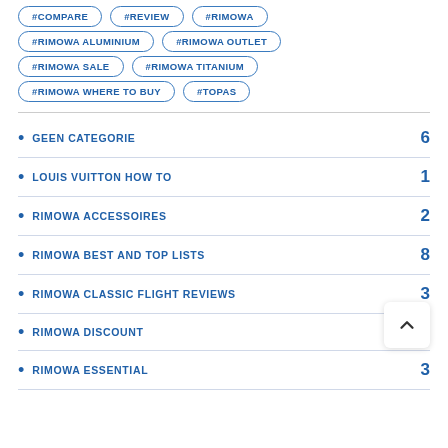#COMPARE
#REVIEW
#RIMOWA
#RIMOWA ALUMINIUM
#RIMOWA OUTLET
#RIMOWA SALE
#RIMOWA TITANIUM
#RIMOWA WHERE TO BUY
#TOPAS
GEEN CATEGORIE 6
LOUIS VUITTON HOW TO 1
RIMOWA ACCESSOIRES 2
RIMOWA BEST AND TOP LISTS 8
RIMOWA CLASSIC FLIGHT REVIEWS 3
RIMOWA DISCOUNT
RIMOWA ESSENTIAL 3